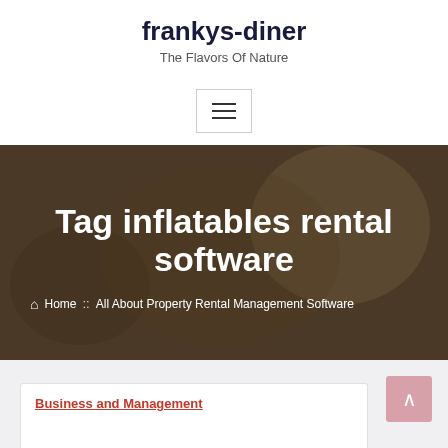frankys-diner
The Flavors Of Nature
[Figure (infographic): Hamburger/navigation menu button icon with three horizontal lines inside a bordered box]
Tag inflatables rental software
Home :: All About Property Rental Management Software
Business and Management